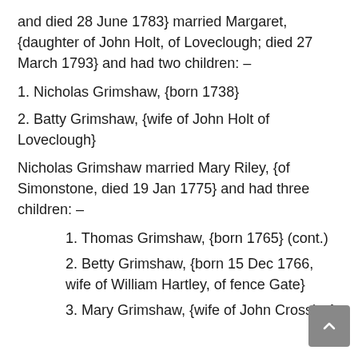and died 28 June 1783} married Margaret, {daughter of John Holt, of Loveclough; died 27 March 1793} and had two children: –
1. Nicholas Grimshaw, {born 1738}
2. Batty Grimshaw, {wife of John Holt of Loveclough}
Nicholas Grimshaw married Mary Riley, {of Simonstone, died 19 Jan 1775} and had three children: –
1. Thomas Grimshaw, {born 1765} (cont.)
2. Betty Grimshaw, {born 15 Dec 1766, wife of William Hartley, of fence Gate}
3. Mary Grimshaw, {wife of John Crossley}